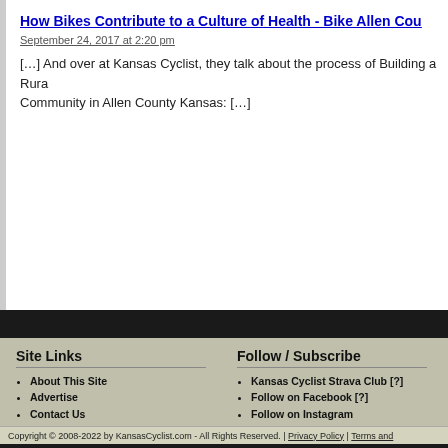How Bikes Contribute to a Culture of Health - Bike Allen Cou
September 24, 2017 at 2:20 pm
[…] And over at Kansas Cyclist, they talk about the process of Building a Rural Cycling Community in Allen County Kansas: […]
Site Links
About This Site
Advertise
Contact Us
Link To Us
Submit a Link
Submit/Update an Event
What's New?
Help Support Kansas Cyclist
Follow / Subscribe
Kansas Cyclist Strava Club [?]
Follow on Facebook [?]
Follow on Instagram
Follow on Twitter [?]
RSS Feeds
Subscribe via Email
Copyright © 2008-2022 by KansasCyclist.com - All Rights Reserved. | Privacy Policy | Terms and